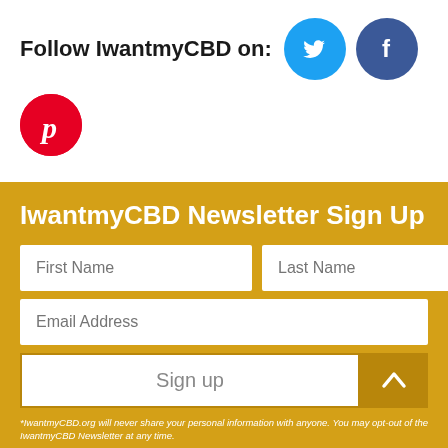Follow IwantmyCBD on:
[Figure (illustration): Twitter bird icon (blue circle), Facebook f icon (dark blue circle), Pinterest P icon (red circle) — social media follow icons]
IwantmyCBD Newsletter Sign Up
First Name | Last Name | Email Address | Sign up
*IwantmyCBD.org will never share your personal information with anyone. You may opt-out of the IwantmyCBD Newsletter at any time.